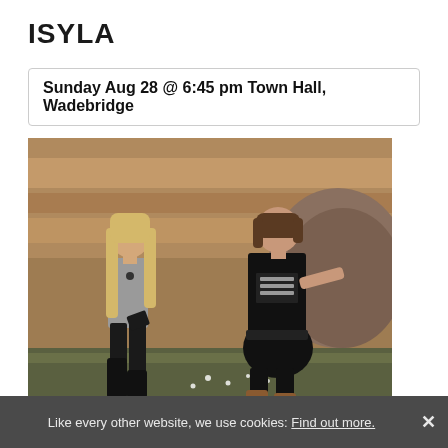ISYLA
Sunday Aug 28 @ 6:45 pm Town Hall, Wadebridge
[Figure (photo): Two women standing against a rocky cliff face outdoors. The woman on the left has long blonde hair and wears a grey tank top, black leggings, and tall black boots. The woman on the right wears a black graphic t-shirt, black skirt, leggings, and brown boots. There are small white flowers on the ground around them.]
Like every other website, we use cookies: Find out more.